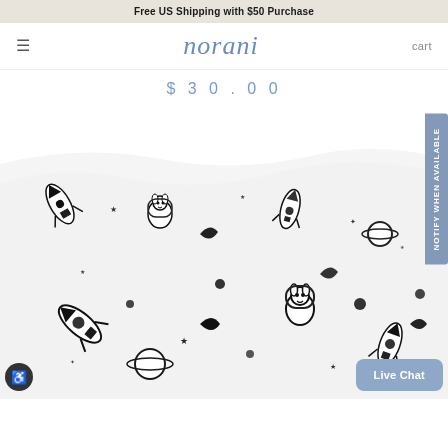Free US Shipping with $50 Purchase
≡  norani  cart
$30.00
[Figure (photo): Close-up photo of a white fabric with black illustrated print featuring rockets, space dogs, stars, moons, and planets in a repeating pattern — a children's crib sheet fabric by Norani.]
NOTIFY WHEN AVAILABLE
Live Chat